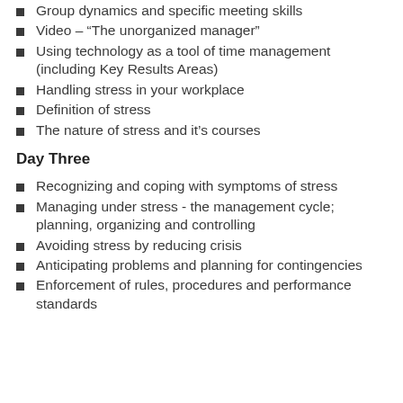Group dynamics and specific meeting skills
Video – “The unorganized manager”
Using technology as a tool of time management (including Key Results Areas)
Handling stress in your workplace
Definition of stress
The nature of stress and it’s courses
Day Three
Recognizing and coping with symptoms of stress
Managing under stress - the management cycle; planning, organizing and controlling
Avoiding stress by reducing crisis
Anticipating problems and planning for contingencies
Enforcement of rules, procedures and performance standards